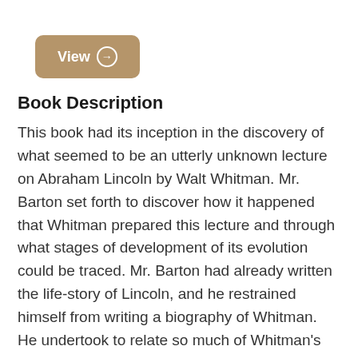[Figure (other): A rounded rectangle button with tan/brown background color labeled 'View' with a right-arrow circle icon]
Book Description
This book had its inception in the discovery of what seemed to be an utterly unknown lecture on Abraham Lincoln by Walt Whitman. Mr. Barton set forth to discover how it happened that Whitman prepared this lecture and through what stages of development of its evolution could be traced. Mr. Barton had already written the life-story of Lincoln, and he restrained himself from writing a biography of Whitman. He undertook to relate so much of Whitman's life-story as is connected with his writings on Lincoln, and this involved some consideration of the aim and spirit of his writings on Abraham Lincoln